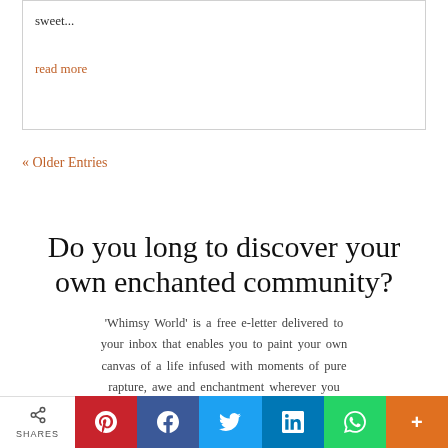sweet...
read more
« Older Entries
Do you long to discover your own enchanted community?
'Whimsy World' is a free e-letter delivered to your inbox that enables you to paint your own canvas of a life infused with moments of pure rapture, awe and enchantment wherever you may find it.
[Figure (infographic): Social sharing bar with share count and buttons for Pinterest, Facebook, Twitter, LinkedIn, WhatsApp, and More]